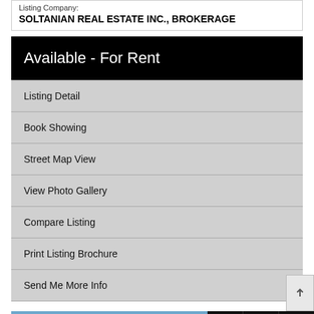Listing Company:
SOLTANIAN REAL ESTATE INC., BROKERAGE
Available - For Rent
Listing Detail
Book Showing
Street Map View
View Photo Gallery
Compare Listing
Print Listing Brochure
Send Me More Info
[Figure (photo): Exterior photo of a house with trees and blue sky, with contact icon buttons (email, phone, mobile) overlaid at the bottom right]